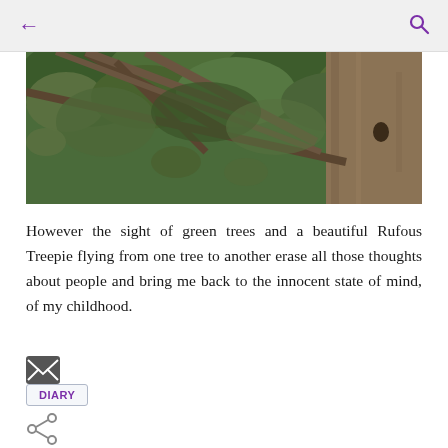← (back) | (search icon)
[Figure (photo): Close-up photograph of green tree branches and leaves with a large tree trunk visible on the right side, taken in a forest setting.]
However the sight of green trees and a beautiful Rufous Treepie flying from one tree to another erase all those thoughts about people and bring me back to the innocent state of mind, of my childhood.
DIARY